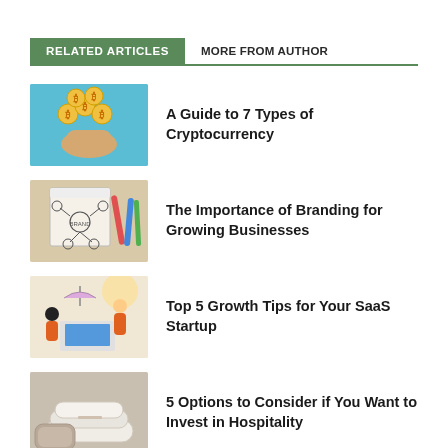RELATED ARTICLES
MORE FROM AUTHOR
[Figure (photo): Bitcoin/cryptocurrency coins in hand on teal background]
A Guide to 7 Types of Cryptocurrency
[Figure (photo): Branding mind map diagram with colorful pens on desk]
The Importance of Branding for Growing Businesses
[Figure (illustration): Two people at a laptop, SaaS startup illustration]
Top 5 Growth Tips for Your SaaS Startup
[Figure (photo): Hotel towels and hospitality items]
5 Options to Consider if You Want to Invest in Hospitality